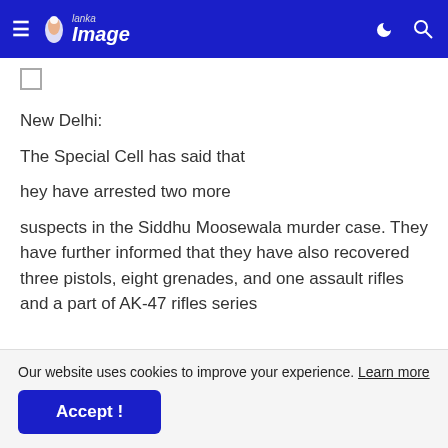Lanka Image
New Delhi:
The Special Cell has said that
hey have arrested two more
suspects in the Siddhu Moosewala murder case. They have further informed that they have also recovered three pistols, eight grenades, and one assault rifles and a part of AK-47 rifles series
Our website uses cookies to improve your experience. Learn more
Accept !